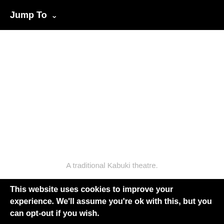Jump To ˅
A traditional Kabuki theatre.
This website uses cookies to improve your experience. We'll assume you're ok with this, but you can opt-out if you wish.